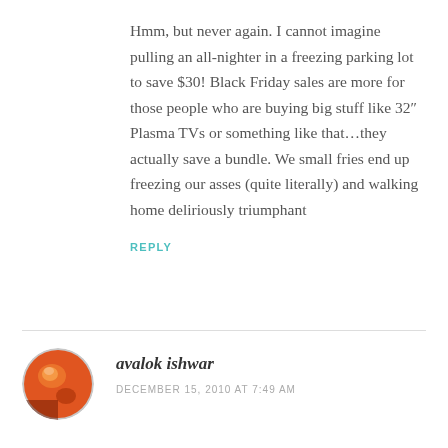Hmm, but never again. I cannot imagine pulling an all-nighter in a freezing parking lot to save $30! Black Friday sales are more for those people who are buying big stuff like 32″ Plasma TVs or something like that…they actually save a bundle. We small fries end up freezing our asses (quite literally) and walking home deliriously triumphant
REPLY
[Figure (photo): Circular avatar photo showing a reddish-orange sphere or ball object]
avalok ishwar
DECEMBER 15, 2010 AT 7:49 AM